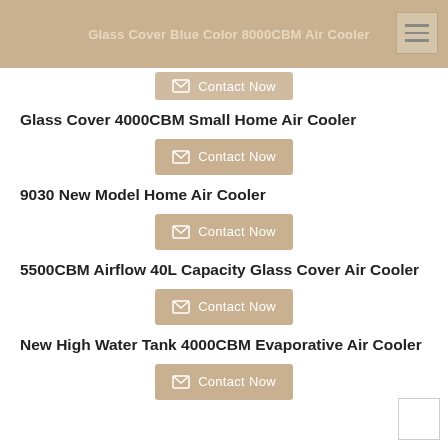Glass Cover Blue Color 8000CBM Air Cooler
Glass Cover 4000CBM Small Home Air Cooler
9030 New Model Home Air Cooler
5500CBM Airflow 40L Capacity Glass Cover Air Cooler
New High Water Tank 4000CBM Evaporative Air Cooler